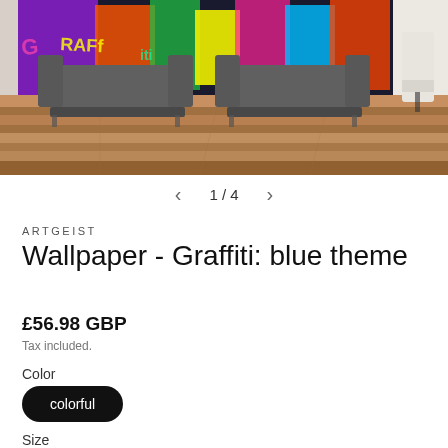[Figure (photo): Product photo of a graffiti wallpaper mural in a room setting. Two gray sofas sit in front of a colorful graffiti wall mural with bright colors (purple, orange, green, yellow). The room has a wood floor. A white chair is visible on the far right. Image navigation shows 1 / 4 with left and right arrows.]
ARTGEIST
Wallpaper - Graffiti: blue theme
£56.98 GBP
Tax included.
Color
colorful
Size